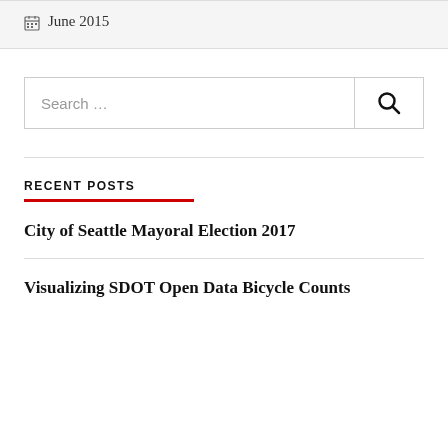June 2015
Search ...
RECENT POSTS
City of Seattle Mayoral Election 2017
Visualizing SDOT Open Data Bicycle Counts